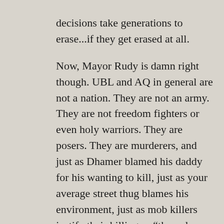decisions take generations to erase...if they get erased at all.

Now, Mayor Rudy is damn right though. UBL and AQ in general are not a nation. They are not an army. They are not freedom fighters or even holy warriors. They are posers. They are murderers, and just as Dhamer blamed his daddy for his wanting to kill, just as your average street thug blames his environment, just as mob killers justify their killing as “the only work they could get” so too are Osama Bin Laden and Al Queda. They are killers first and foremost. They seek excuses. One cannot kill for a religion of peace. It’s an oxymoron. They are not